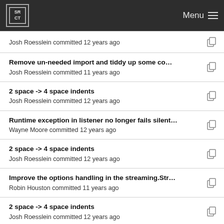SRCT | Menu
Josh Roesslein committed 12 years ago
Remove un-needed import and tiddy up some co...
Josh Roesslein committed 11 years ago
2 space -> 4 space indents
Josh Roesslein committed 12 years ago
Runtime exception in listener no longer fails silent...
Wayne Moore committed 12 years ago
2 space -> 4 space indents
Josh Roesslein committed 12 years ago
Improve the options handling in the streaming.Str...
Robin Houston committed 11 years ago
2 space -> 4 space indents
Josh Roesslein committed 12 years ago
Open the correct type of HTTP Connection based ...